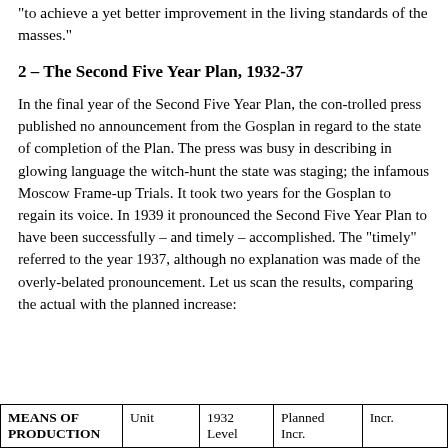“to achieve a yet better improvement in the living standards of the masses.”
2 – The Second Five Year Plan, 1932-37
In the final year of the Second Five Year Plan, the con-trolled press published no announcement from the Gosplan in regard to the state of completion of the Plan. The press was busy in describing in glowing language the witch-hunt the state was staging; the infamous Moscow Frame-up Trials. It took two years for the Gosplan to regain its voice. In 1939 it pronounced the Second Five Year Plan to have been successfully – and timely – accomplished. The “timely” referred to the year 1937, although no explanation was made of the overly-belated pronouncement. Let us scan the results, comparing the actual with the planned increase:
| MEANS OF PRODUCTION | Unit | 1932 Level | Planned Incr. | Incr. |
| --- | --- | --- | --- | --- |